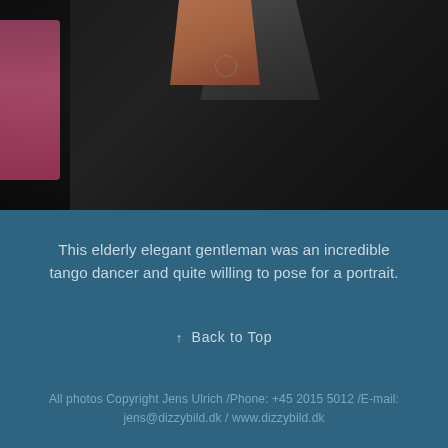[Figure (photo): Close-up photo of an elderly gentleman wearing a dark/black jacket with an open collar showing his neck and a chain necklace. A pink/magenta blurred figure is visible on the left edge. The image is cropped at chest level.]
This elderly elegant gentleman was an incredible tango dancer and quite willing to pose for a portrait.
↑  Back to Top
All photos Copyright Jens Ulrich /Phone: +45 2015 5012 /E-mail: jens@dizzybild.dk / www.dizzybild.dk